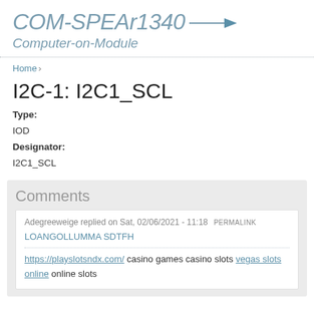COM-SPEAr1340 Computer-on-Module
Home ›
I2C-1: I2C1_SCL
Type:
IOD
Designator:
I2C1_SCL
Comments
Adegreeweige replied on Sat, 02/06/2021 - 11:18 PERMALINK
LOANGOLLUMMA SDTFH
https://playslotsndx.com/ casino games casino slots vegas slots online online slots